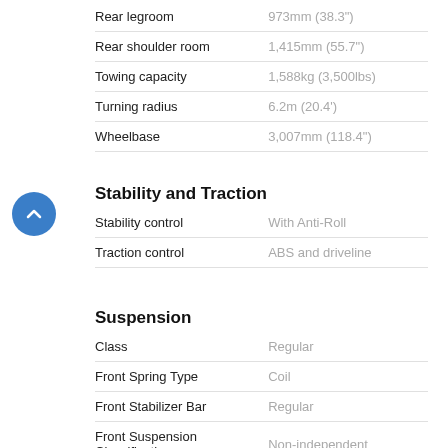| Specification | Value |
| --- | --- |
| Rear legroom | 973mm (38.3") |
| Rear shoulder room | 1,415mm (55.7") |
| Towing capacity | 1,588kg (3,500lbs) |
| Turning radius | 6.2m (20.4') |
| Wheelbase | 3,007mm (118.4") |
Stability and Traction
| Specification | Value |
| --- | --- |
| Stability control | With Anti-Roll |
| Traction control | ABS and driveline |
Suspension
| Specification | Value |
| --- | --- |
| Class | Regular |
| Front Spring Type | Coil |
| Front Stabilizer Bar | Regular |
| Front Suspension Classification | Non-independent |
| Front suspension type | Leading link |
| Rear Spring Type | Coil |
| Rear Stabilizer Bar | Regular |